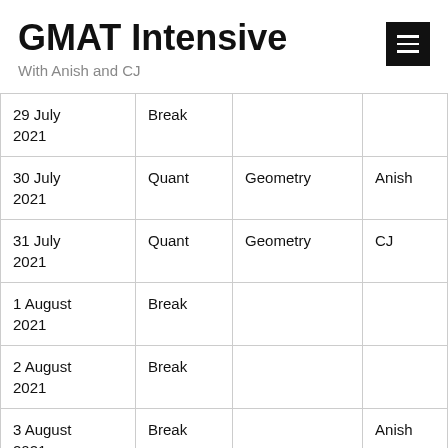GMAT Intensive
With Anish and CJ
| 29 July 2021 | Break |  |  |
| 30 July 2021 | Quant | Geometry | Anish |
| 31 July 2021 | Quant | Geometry | CJ |
| 1 August 2021 | Break |  |  |
| 2 August 2021 | Break |  |  |
| 3 August 2021 | Break |  | Anish |